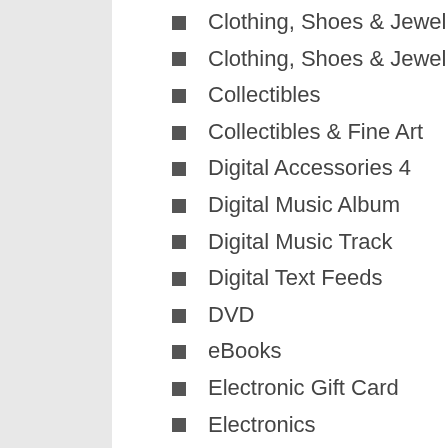Clothing, Shoes & Jewelry
Clothing, Shoes & Jewelry
Collectibles
Collectibles & Fine Art
Digital Accessories 4
Digital Music Album
Digital Music Track
Digital Text Feeds
DVD
eBooks
Electronic Gift Card
Electronics
Entertainment Memorabilia
Furniture
Gift Card
Gift Cards
Grills & Outdoor Cooking